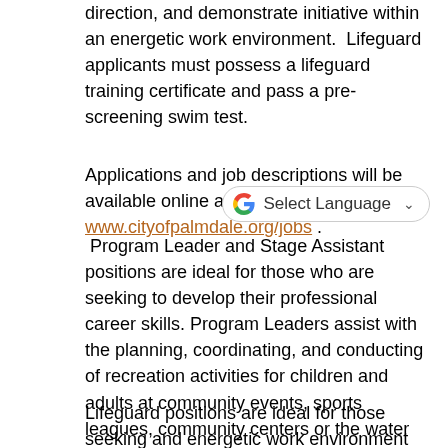direction, and demonstrate initiative within an energetic work environment.  Lifeguard applicants must possess a lifeguard training certificate and pass a pre-screening swim test.
Applications and job descriptions will be available online at www.cityofpalmdale.org/jobs .
Program Leader and Stage Assistant positions are ideal for those who are seeking to develop their professional career skills. Program Leaders assist with the planning, coordinating, and conducting of recreation activities for children and adults at community events, sports leagues, community centers or the water park. Stage Assistants perform a variety of duties related to the planning and implementation of theatrical activities; assist with the set-up and safety of the stage and theatre for planned activities, and conduct auditions for community productions.
Lifeguard positions are ideal for those seeking and energetic work environment and rewarding level of responsibility working with the public. Lifeguards work to